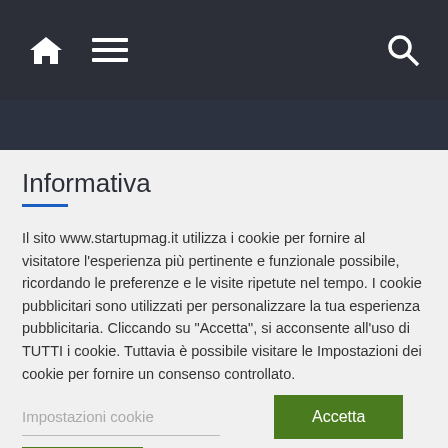Navigation bar with home, menu, and search icons
Informativa
Il sito www.startupmag.it utilizza i cookie per fornire al visitatore l'esperienza più pertinente e funzionale possibile, ricordando le preferenze e le visite ripetute nel tempo. I cookie pubblicitari sono utilizzati per personalizzare la tua esperienza pubblicitaria. Cliccando su "Accetta", si acconsente all'uso di TUTTI i cookie. Tuttavia è possibile visitare le Impostazioni dei cookie per fornire un consenso controllato.
Impostazioni cookie | Accetta | Rifiuta